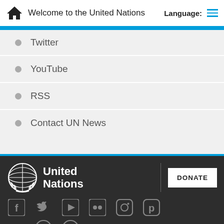Welcome to the United Nations | Language:
Twitter
YouTube
RSS
Contact UN News
[Figure (logo): United Nations emblem and logo with white text on dark background, alongside a DONATE button]
[Figure (infographic): Social media icons: Facebook, Twitter, YouTube, Flickr, Instagram, Pinterest, SoundCloud, Podcast, plus sign]
A-Z SITE INDEX | COPYRIGHT | FAQ | FRAUD ALERT | PRIVACY NOTICE | TERMS OF USE